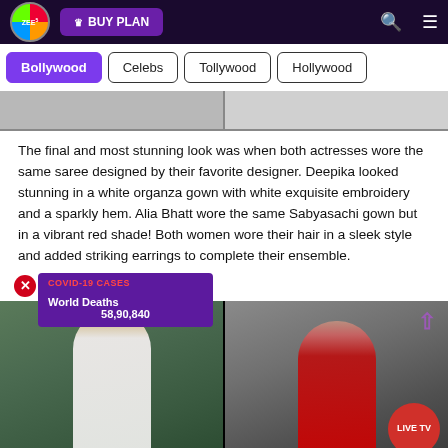ZEE5 | BUY PLAN
Bollywood
Celebs
Tollywood
Hollywood
The final and most stunning look was when both actresses wore the same saree designed by their favorite designer. Deepika looked stunning in a white organza gown with white exquisite embroidery and a sparkly hem. Alia Bhatt wore the same Sabyasachi gown but in a vibrant red shade! Both women wore their hair in a sleek style and added striking earrings to complete their ensemble.
[Figure (photo): Overlay showing COVID-19 CASES panel with World Deaths 58,90,840, alongside two actresses in sarees — one in white organza gown and one in red Sabyasachi gown, with LIVE TV button overlay.]